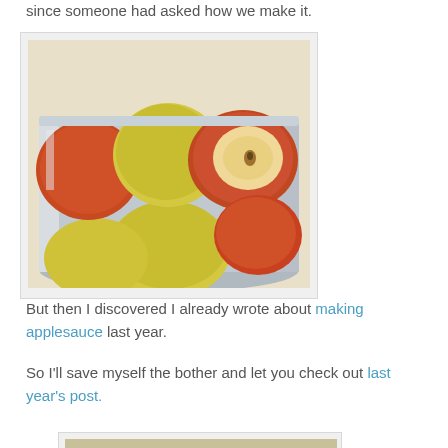since someone had asked how we make it.
[Figure (photo): Apples, some whole and some halved, in a large silver/steel pot, showing yellow-green and red apples ready for making applesauce.]
But then I discovered I already wrote about making applesauce last year.
So I'll save myself the bother and let you check out last year's post.
[Figure (photo): Partial view of a pot with sliced apples, another step in the applesauce making process.]